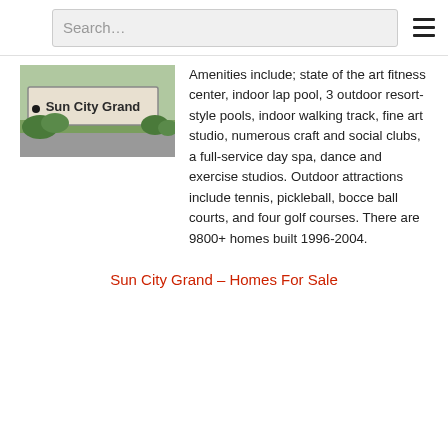Search…
[Figure (photo): Sign reading 'Sun City Grand' with landscaping and grass in front]
Amenities include; state of the art fitness center, indoor lap pool, 3 outdoor resort-style pools, indoor walking track, fine art studio, numerous craft and social clubs, a full-service day spa, dance and exercise studios. Outdoor attractions include tennis, pickleball, bocce ball courts, and four golf courses. There are 9800+ homes built 1996-2004.
Sun City Grand – Homes For Sale